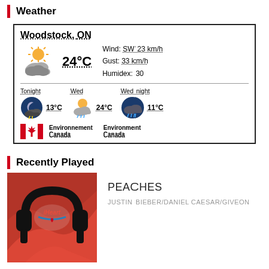Weather
[Figure (infographic): Weather widget for Woodstock, ON showing 24°C, partly cloudy with sun, Wind: SW 23 km/h, Gust: 33 km/h, Humidex: 30. Forecast: Tonight 13°C (storm), Wed 24°C (partly cloudy with rain), Wed night 11°C (rain). Environnement Canada / Environment Canada logos with Canadian flag.]
Recently Played
[Figure (photo): iHeart radio logo album art — black headphones on red background with iHeart logo]
PEACHES
JUSTIN BIEBER/DANIEL CAESAR/GIVEON